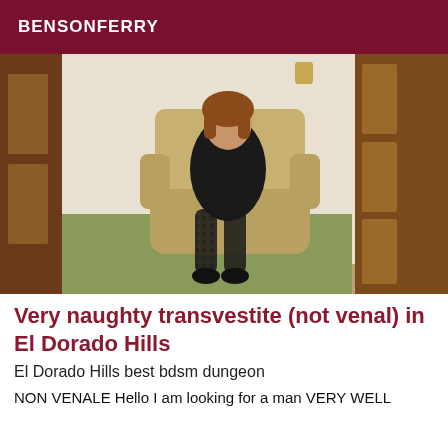BENSONFERRY
[Figure (photo): Person seated in an armchair in a hotel room, wearing a black outfit and lace stockings, with wooden doors visible in background.]
Very naughty transvestite (not venal) in El Dorado Hills
El Dorado Hills best bdsm dungeon
NON VENALE Hello I am looking for a man VERY WELL